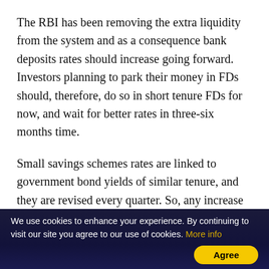The RBI has been removing the extra liquidity from the system and as a consequence bank deposits rates should increase going forward. Investors planning to park their money in FDs should, therefore, do so in short tenure FDs for now, and wait for better rates in three-six months time.
Small savings schemes rates are linked to government bond yields of similar tenure, and they are revised every quarter. So, any increase in government bond yields should get reflected in the revised rates albeit with lag. The savers should remember that the government has kept the rates of small savings
We use cookies to enhance your experience. By continuing to visit our site you agree to our use of cookies. More info  Agree